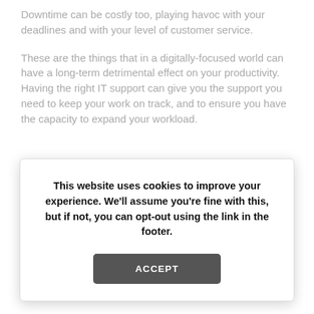Downtime can be costly too, playing havoc with your deadlines and with your level of customer service.
These are the things that in a digitally-focused world can have a long-term detrimental effect on your productivity. Having the right IT support can give you the support you need to keep your work on track, and to ensure you have the capacity to expand your workload.
This website uses cookies to improve your experience. We'll assume you're fine with this, but if not, you can opt-out using the link in the footer. ACCEPT